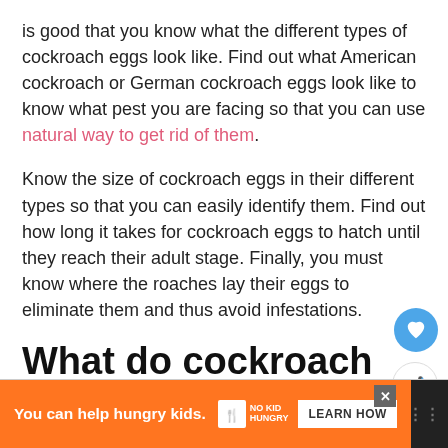is good that you know what the different types of cockroach eggs look like. Find out what American cockroach or German cockroach eggs look like to know what pest you are facing so that you can use natural way to get rid of them.
Know the size of cockroach eggs in their different types so that you can easily identify them. Find out how long it takes for cockroach eggs to hatch until they reach their adult stage. Finally, you must know where the roaches lay their eggs to eliminate them and thus avoid infestations.
What do cockroach eggs look like?
[Figure (other): Advertisement banner: orange background with 'You can help hungry kids.' text, No Kid Hungry logo, and LEARN HOW button. Close button (X) and menu icon on right.]